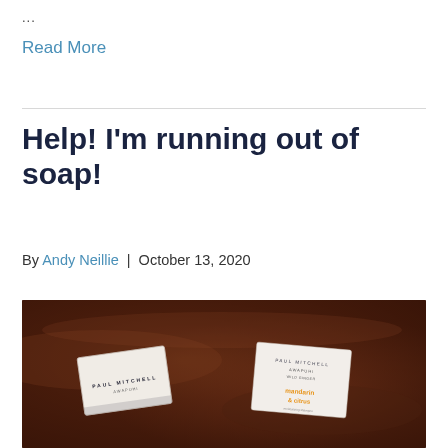...
Read More
Help! I'm running out of soap!
By Andy Neillie  |  October 13, 2020
[Figure (photo): Two white soap boxes on a dark brown leather background. Left box has a dark/black label, right box has text reading 'mandarin & citrus' in orange lettering.]